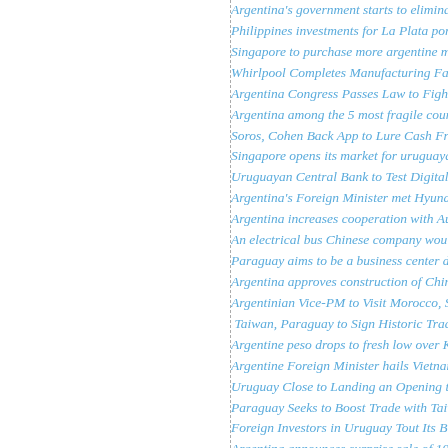Argentina's government starts to eliminate...
Philippines investments for La Plata port...
Singapore to purchase more argentine mea...
Whirlpool Completes Manufacturing Facil...
Argentina Congress Passes Law to Fight C...
Argentina among the 5 most fragile countr...
Soros, Cohen Back App to Lure Cash Fro...
Singapore opens its market for uruguayan...
Uruguayan Central Bank to Test Digital C...
Argentina's Foreign Minister met Hyundai...
Argentina increases cooperation with Aust...
An electrical bus Chinese company would...
Paraguay aims to be a business center duri...
Argentina approves construction of Chines...
Argentinian Vice-PM to Visit Morocco, Se...
Taiwan, Paraguay to Sign Historic Trade D...
Argentine peso drops to fresh low over Ki...
Argentine Foreign Minister hails Vietnam...
Uruguay Close to Landing an Opening to ...
Paraguay Seeks to Boost Trade with Taiwa...
Foreign Investors in Uruguay Tout Its Brig...
Argentina announces surprise sale of 100-...
Argentina misses out on MSCI upgrade to...
Argentina 'ripe' to reclaim emerging mark...
AIIB approves membership of Argentina, ...
Argentina signs mining deal to unify regul...
Germany's Merkel-EU Must Compromise...
Argentina and UK agree to implement the...
First shipment of Argentine beef to the...